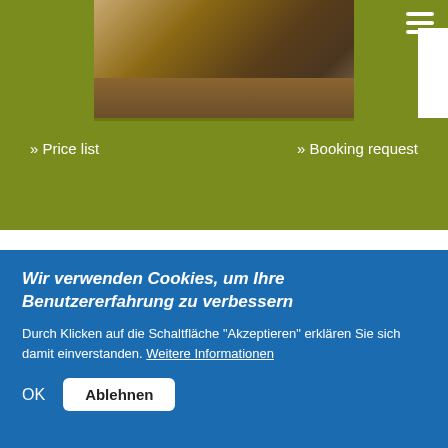[Figure (photo): Hotel room photo showing wooden floor and bed, viewed from above]
» Price list
» Booking request
Family room "Komfort"
approx. 35 m², with bath tub or shower, partially living area and balcony - 2-4 persons
[Figure (photo): Partial room interior photo showing warm orange/peach tones]
Wir verwenden Cookies, um Ihre Benutzererfahrung zu verbessern
Durch Klicken auf die Schaltfläche "Akzeptieren" erklären Sie sich damit einverstanden. Weitere Informationen
OK
Ablehnen